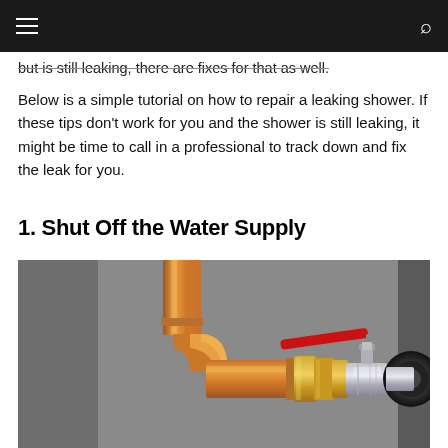but is still leaking, there are fixes for that as well.
Below is a simple tutorial on how to repair a leaking shower. If these tips don't work for you and the shower is still leaking, it might be time to call in a professional to track down and fix the leak for you.
1. Shut Off the Water Supply
[Figure (photo): A copper elbow pipe with brass fittings and a ball valve with a red handle lever, mounted on a grey wall. The valve is used to shut off a water supply line.]